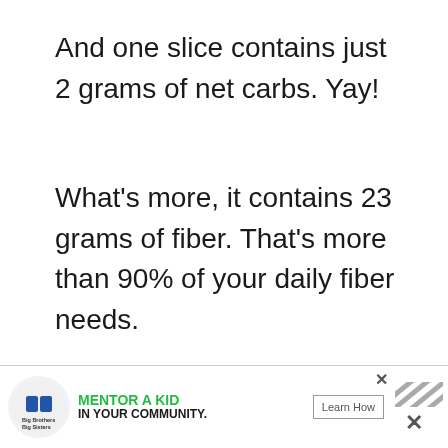And one slice contains just 2 grams of net carbs. Yay!
What’s more, it contains 23 grams of fiber. That’s more than 90% of your daily fiber needs.
To keep it low carb, you’ll be making your own keto pie crust. You’ll also be sweetening your pie filling with granulated sweetener and keto maple
[Figure (screenshot): Advertisement banner for Big Brothers Big Sisters: 'Mentor a Kid in Your Community' with a Learn How button and a close X button]